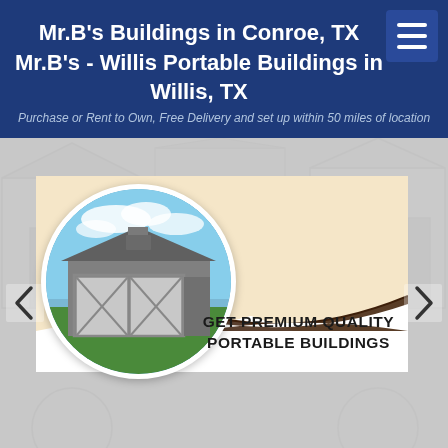Mr.B's Buildings in Conroe, TX
Mr.B's - Willis Portable Buildings in Willis, TX
Purchase or Rent to Own, Free Delivery and set up within 50 miles of location
[Figure (photo): Slideshow banner featuring a circular image of a gray portable shed/building with white trim and double doors on green grass, set against a beige and white background with text 'GET PREMIUM QUALITY PORTABLE BUILDINGS'. Navigation arrows on left and right. Background shows faded building images.]